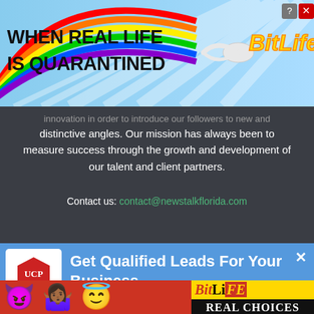[Figure (screenshot): Top advertisement banner for BitLife game with rainbow background, showing 'WHEN REAL LIFE IS QUARANTINED' text, BitLife logo with emoji mascot, question mark and close buttons in top right corner]
innovation in order to introduce our followers to new and distinctive angles. Our mission has always been to measure success through the growth and development of our talent and client partners.
Contact us: contact@newstalkflorida.com
[Figure (screenshot): Middle advertisement for United Cities Productions with blue background, UCPlogo on left, headline 'Get Qualified Leads For Your Business' in white bold text, close X button top right]
[Figure (screenshot): Bottom advertisement for BitLife game with red background showing devil emoji, woman emoji, angel emoji on left side, BitLife logo and 'REAL CHOICES' text on black/yellow panel on right]